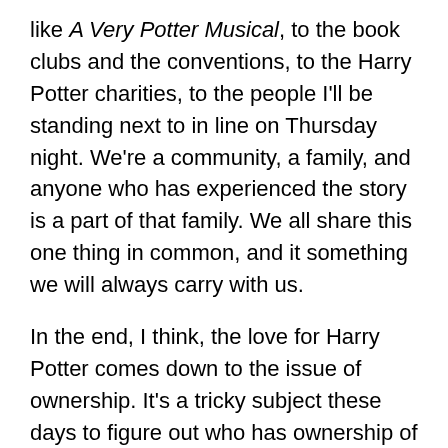like A Very Potter Musical, to the book clubs and the conventions, to the Harry Potter charities, to the people I'll be standing next to in line on Thursday night. We're a community, a family, and anyone who has experienced the story is a part of that family. We all share this one thing in common, and it something we will always carry with us.
In the end, I think, the love for Harry Potter comes down to the issue of ownership. It's a tricky subject these days to figure out who has ownership of a story. It was very apparent when the Star Wars prequels were released that the ownership of that universe didn't belong to the fans but to the creator of that universe. That is a perfectly valid way for things to be, but it upset people who felt they did not get what they wanted. On the other hand, trying to appeal to the masses consistently backfires, and corrupts the